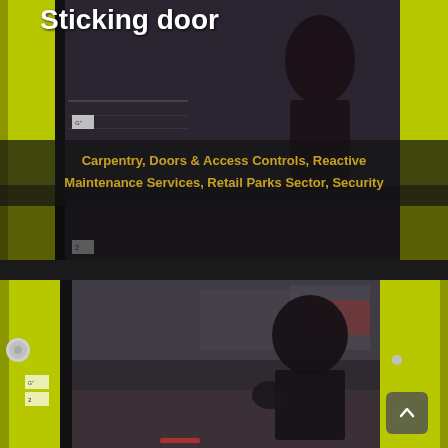Sticking door
Carpentry, Doors & Access Controls, Reactive Maintenance Services, Retail Parks Sector, Security
[Figure (photo): Photo of a yellow/lime-green door frame with a person in dark clothing visible through the glass door, taken from inside a building looking outward at a wet street scene]
[Figure (photo): Larger photo of the same yellow/lime-green door frame with a person in dark clothing, door hardware (handle/knob) visible on left, exterior street scene with vehicles and buildings in background, rainy conditions]